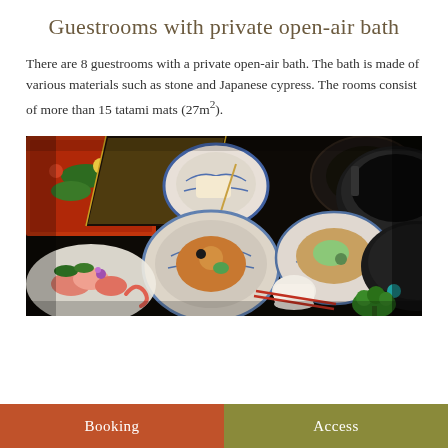Guestrooms with private open-air bath
There are 8 guestrooms with a private open-air bath. The bath is made of various materials such as stone and Japanese cypress. The rooms consist of more than 15 tatami mats (27m²).
[Figure (photo): Close-up photo of a traditional Japanese kaiseki multi-course meal spread, featuring various dishes including sashimi, small bowls with cooked dishes, blue-and-white porcelain bowls, a hot pot, and colorful garnishes on a dark table.]
Booking   Access